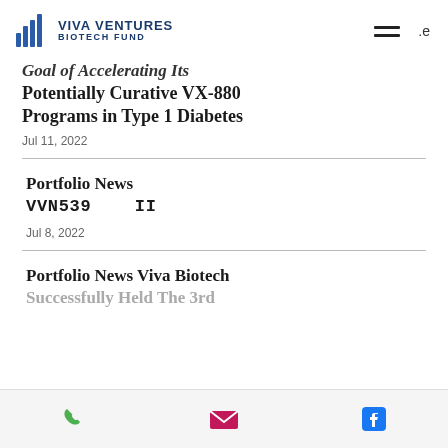VIVA VENTURES BIOTECH FUND
Goal of Accelerating Its Potentially Curative VX-880 Programs in Type 1 Diabetes
Jul 11, 2022
Portfolio News VVN539    II
Jul 8, 2022
Portfolio News Viva Biotech Successfully Held The 3rd
Phone | Email | Facebook